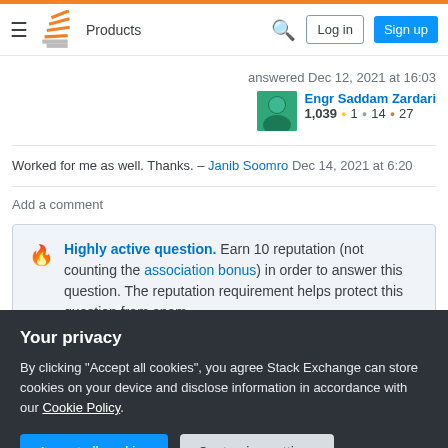≡ [Stack Overflow logo] Products 🔍 Log in Sign up
answered Dec 12, 2021 at 16:03
Engr Saddam Zardari 1,039 ●1 ●14 ●27
Worked for me as well. Thanks. – Janib Soomro Dec 14, 2021 at 6:20
Add a comment
Highly active question. Earn 10 reputation (not counting the association bonus) in order to answer this question. The reputation requirement helps protect this question from spam
Your privacy
By clicking "Accept all cookies", you agree Stack Exchange can store cookies on your device and disclose information in accordance with our Cookie Policy.
Accept all cookies
Customize settings